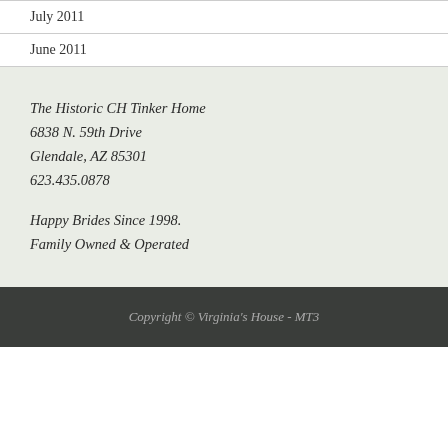July 2011
June 2011
The Historic CH Tinker Home
6838 N. 59th Drive
Glendale, AZ 85301
623.435.0878
Happy Brides Since 1998.
Family Owned & Operated
Copyright © Virginia's House - MT3